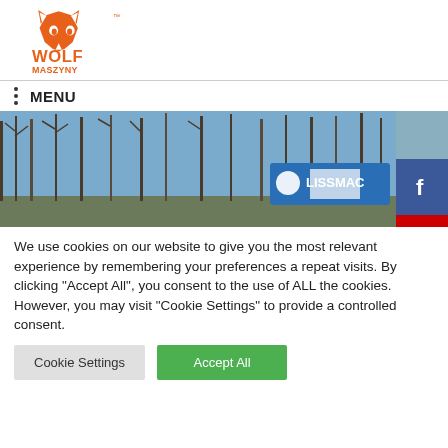[Figure (logo): Wolf Maszyny orange wolf logo with TM mark and company name]
MENU
[Figure (photo): Outdoor scene with bare trees, blue sky, and a blue LISSMAC branded machine/banner in the foreground]
We use cookies on our website to give you the most relevant experience by remembering your preferences and repeat visits. By clicking "Accept All", you consent to the use of ALL the cookies. However, you may visit "Cookie Settings" to provide a controlled consent.
Cookie Settings | Accept All